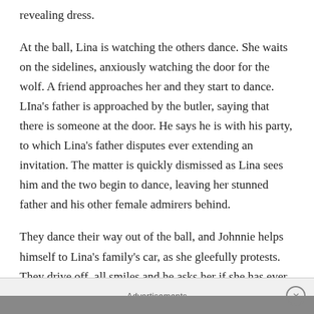revealing dress.
At the ball, Lina is watching the others dance. She waits on the sidelines, anxiously watching the door for the wolf. A friend approaches her and they start to dance. LIna's father is approached by the butler, saying that there is someone at the door. He says he is with his party, to which Lina's father disputes ever extending an invitation. The matter is quickly dismissed as Lina sees him and the two begin to dance, leaving her stunned father and his other female admirers behind.
They dance their way out of the ball, and Johnnie helps himself to Lina's family's car, as she gleefully protests. They drive off, all smiles and he asks her if she has ever kissed in a car. When she says never, he remedies that situation. Their conversation ends abruptly as she f
Advertisements